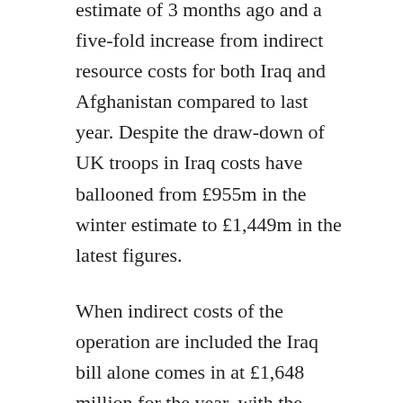estimate of 3 months ago and a five-fold increase from indirect resource costs for both Iraq and Afghanistan compared to last year. Despite the draw-down of UK troops in Iraq costs have ballooned from £955m in the winter estimate to £1,449m in the latest figures.
When indirect costs of the operation are included the Iraq bill alone comes in at £1,648 million for the year, with the combined operational costs for the current financial year now forecast to reach £3.297bn – a 94% increase on the previous figure of £1.698bn.
The human cost of war will be marked this